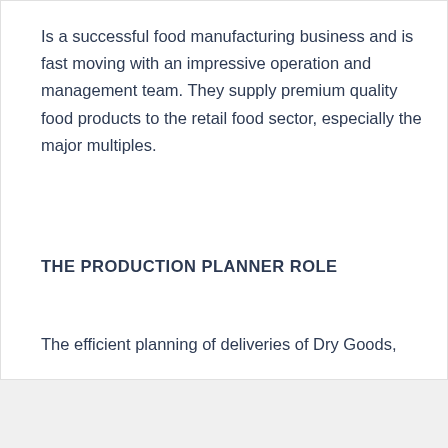Is a successful food manufacturing business and is fast moving with an impressive operation and management team. They supply premium quality food products to the retail food sector, especially the major multiples.
THE PRODUCTION PLANNER ROLE
The efficient planning of deliveries of Dry Goods,
Send job  Save